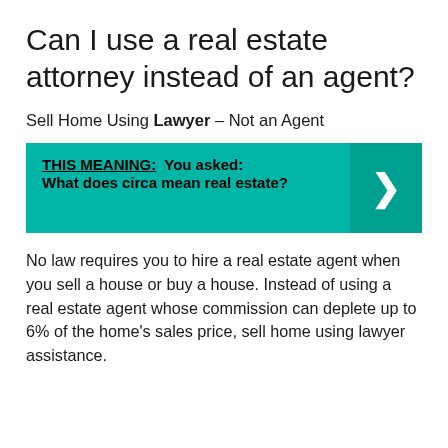Can I use a real estate attorney instead of an agent?
Sell Home Using Lawyer – Not an Agent
THIS MEANING:  You asked: What does circa mean real estate?
No law requires you to hire a real estate agent when you sell a house or buy a house. Instead of using a real estate agent whose commission can deplete up to 6% of the home's sales price, sell home using lawyer assistance.